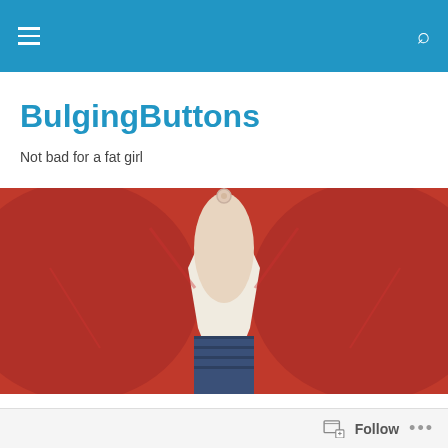BulgingButtons navigation bar
BulgingButtons
Not bad for a fat girl
[Figure (photo): Close-up photo of a red shirt straining and gaping open at a button, revealing skin and jeans beneath]
One More Day
Follow ...